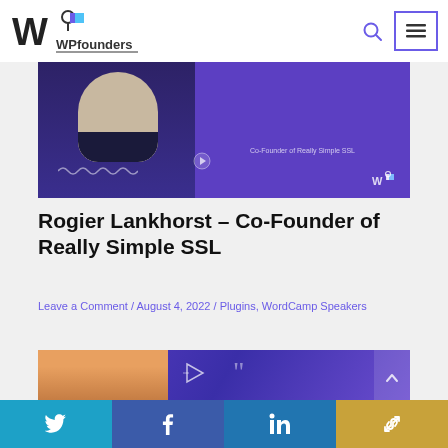WPfounders
[Figure (photo): Purple/blue banner image with a person and text 'Co-Founder of Really Simple SSL' — top article image for WPfounders post]
Rogier Lankhorst – Co-Founder of Really Simple SSL
Leave a Comment / August 4, 2022 / Plugins, WordCamp Speakers
[Figure (photo): Blue/purple video thumbnail with play button and quote icon — second article image]
Twitter | Facebook | LinkedIn | Link